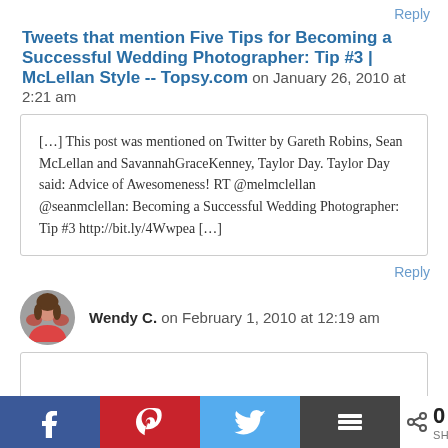Reply
Tweets that mention Five Tips for Becoming a Successful Wedding Photographer: Tip #3 | McLellan Style -- Topsy.com on January 26, 2010 at 2:21 am
[…] This post was mentioned on Twitter by Gareth Robins, Sean McLellan and SavannahGraceKenney, Taylor Day. Taylor Day said: Advice of Awesomeness! RT @melmclellan @seanmclellan: Becoming a Successful Wedding Photographer: Tip #3 http://bit.ly/4Wwpea […]
Reply
Wendy C. on February 1, 2010 at 12:19 am